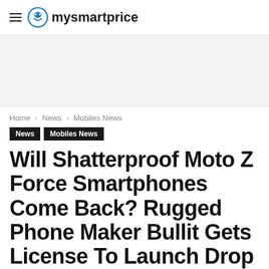mysmartprice
[Figure (other): Gray advertisement banner placeholder]
Home › News › Mobiles News
News  Mobiles News
Will Shatterproof Moto Z Force Smartphones Come Back? Rugged Phone Maker Bullit Gets License To Launch Drop Proof Moto Phones